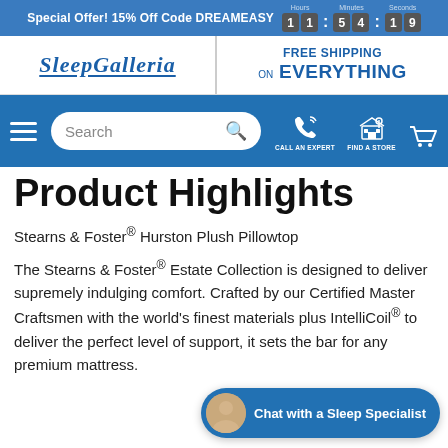Special Offer! 15% Off Code DREAMEASY 11:54:19
[Figure (logo): Sleep Galleria logo with italic serif font and underline]
FREE SHIPPING on EVERYTHING
[Figure (screenshot): Navigation bar with hamburger menu, search box, call an expert phone icon, find a store icon, and cart icon]
Product Highlights
Stearns & Foster® Hurston Plush Pillowtop
The Stearns & Foster® Estate Collection is designed to deliver supremely indulging comfort. Crafted by our Certified Master Craftsmen with the world's finest materials plus IntelliCoil® to deliver the perfect level of support, it sets the bar for any premium mattress.
[Figure (infographic): Chat with a Sleep Specialist button with avatar photo]